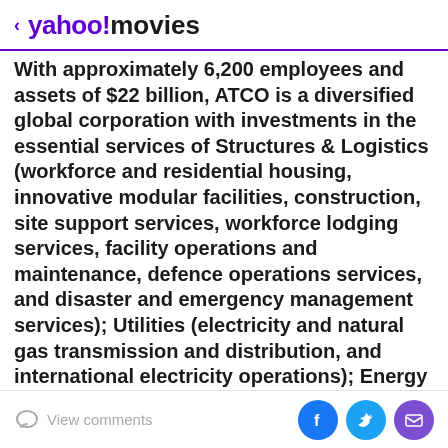< yahoo!movies
With approximately 6,200 employees and assets of $22 billion, ATCO is a diversified global corporation with investments in the essential services of Structures & Logistics (workforce and residential housing, innovative modular facilities, construction, site support services, workforce lodging services, facility operations and maintenance, defence operations services, and disaster and emergency management services); Utilities (electricity and natural gas transmission and distribution, and international electricity operations); Energy Infrastructure (electricity generation, energy storage and industrial water solutions); Retail Energy (electricity and natural gas retail).
View comments